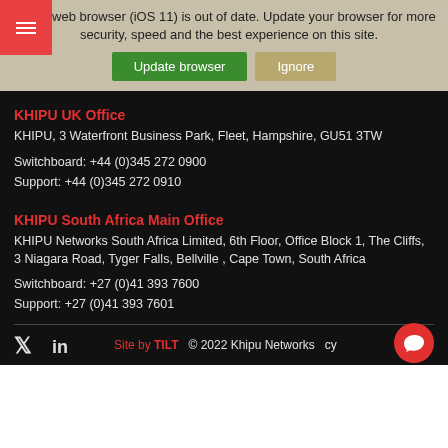[Figure (screenshot): Browser update warning banner with navigation overlay, green Update browser button and tan Ignore button]
KHIPU UK Office
KHIPU, 3 Waterfront Business Park, Fleet, Hampshire, GU51 3TW
Switchboard: +44 (0)345 272 0900
Support: +44 (0)345 272 0910
KHIPU South Africa Main Office
KHIPU Networks South Africa Limited, 6th Floor, Office Block 1, The Cliffs, 3 Niagara Road, Tyger Falls, Bellville , Cape Town, South Africa
Switchboard: +27 (0)41 393 7600
Support: +27 (0)41 393 7601
Site by TILT   © 2022 Khipu Networks   cy